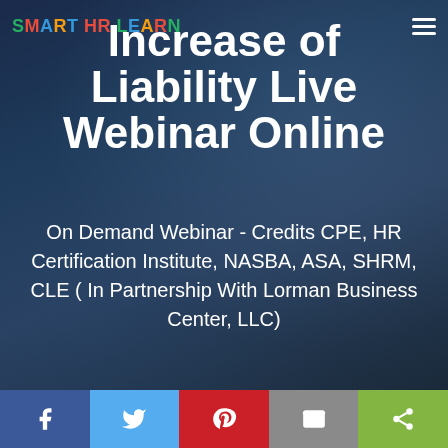SMART HR LEARN
Increase of Liability Live Webinar Online
On Demand Webinar - Credits CPE, HR Certification Institute, NASBA, ASA, SHRM, CLE ( In Partnership With Lorman Business Center, LLC)
[Figure (screenshot): Social sharing bar with Facebook, Twitter, Pinterest, Email, and Share buttons]